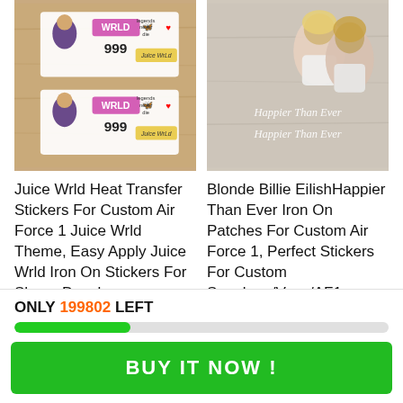[Figure (photo): Juice Wrld Heat Transfer Stickers product photo on wood background, showing sticker sheets with WRLD text, 999, and rapper images]
[Figure (photo): Blonde Billie Eilish Happier Than Ever iron-on patches product photo on wood background, showing two women and cursive text]
Juice Wrld Heat Transfer Stickers For Custom Air Force 1 Juice Wrld Theme, Easy Apply Juice Wrld Iron On Stickers For Shoes Decal
Blonde Billie EilishHappier Than Ever Iron On Patches For Custom Air Force 1, Perfect Stickers For Custom Sneakers/Vans/AF1
ONLY 199802 LEFT
BUY IT NOW !